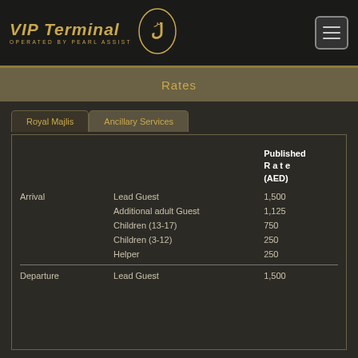VIP Terminal OPERATED BY PEARL ASSIST
Rates
|  |  | Published Rate (AED) |
| --- | --- | --- |
| Arrival | Lead Guest | 1,500 |
|  | Additional adult Guest | 1,125 |
|  | Children (13-17) | 750 |
|  | Children (3-12) | 250 |
|  | Helper | 250 |
| Departure | Lead Guest | 1,500 |